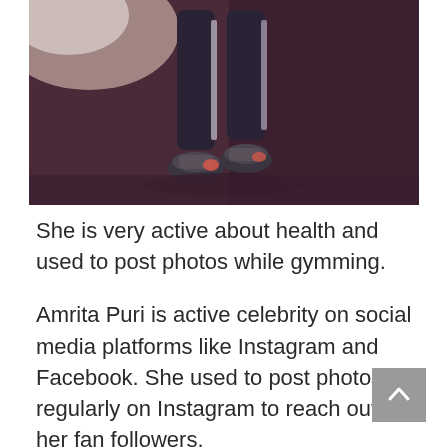[Figure (photo): Cropped photo showing the lower body/legs of a person wearing black workout pants and athletic sneakers, standing on a dark reddish-purple gym floor with bright light in the background.]
She is very active about health and used to post photos while gymming.
Amrita Puri is active celebrity on social media platforms like Instagram and Facebook. She used to post photos regularly on Instagram to reach out to her fan followers.
Her official Instagram name is “amupuri” and